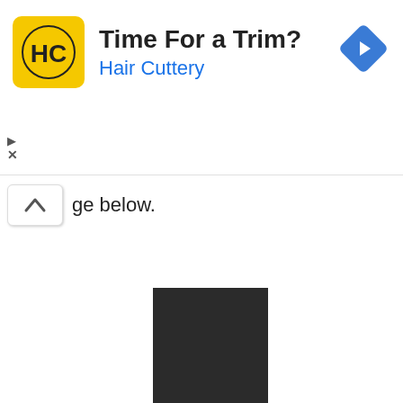[Figure (screenshot): Hair Cuttery advertisement banner with yellow logo showing HC initials, title 'Time For a Trim?', subtitle 'Hair Cuttery' in blue, and a blue diamond navigation icon on the right. Ad controls (play and close) visible on left side below banner.]
ge below.
[Figure (other): Tall dark/black rectangular block occupying the lower center-right portion of the page, representing a partially visible content block or image.]